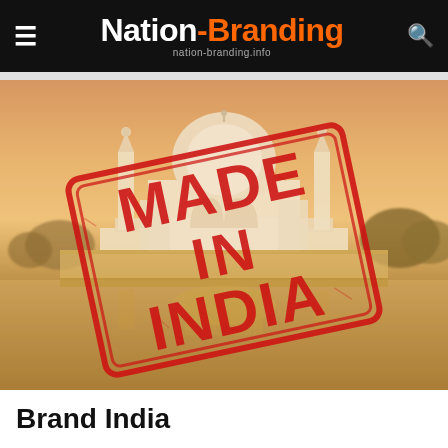Nation-Branding — nation-branding.info
[Figure (photo): Taj Mahal with warm golden haze reflected in water, overlaid with a red rubber stamp reading 'MADE IN INDIA' in bold distressed capital letters, tilted at an angle]
Brand India